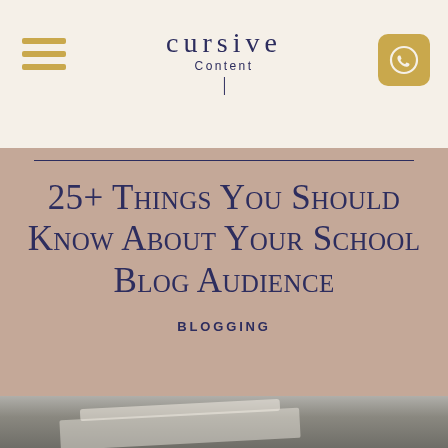cursive Content
25+ Things You Should Know About Your School Blog Audience
BLOGGING
[Figure (photo): Close-up photo of a book or notebook, partially visible at the bottom of the page, with blurred pages and soft lighting.]